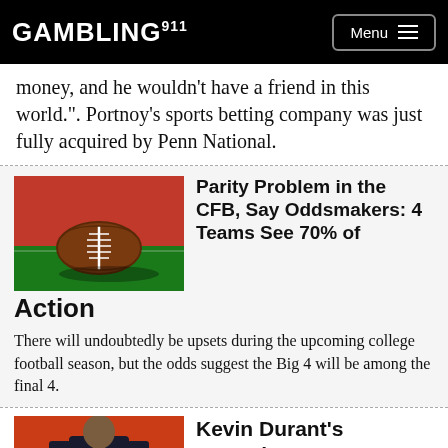GAMBLING911 Menu
money, and he wouldn't have a friend in this world.".  Portnoy's sports betting company was just fully acquired by Penn National.
[Figure (photo): A football resting on a field inside a stadium]
Parity Problem in the CFB, Say Oddsmakers: 4 Teams See 70% of Action
There will undoubtedly be upsets during the upcoming college football season, but the odds suggest the Big 4 will be among the final 4.
[Figure (photo): Kevin Durant in Brooklyn Nets jersey dribbling a basketball]
Kevin Durant's Commitment Impact on the